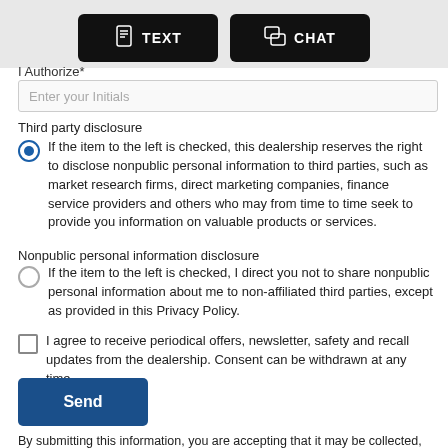[Figure (screenshot): Top button bar showing TEXT and CHAT buttons in black on a light gray background]
I Authorize*
Enter your Initials
Third party disclosure
If the item to the left is checked, this dealership reserves the right to disclose nonpublic personal information to third parties, such as market research firms, direct marketing companies, finance service providers and others who may from time to time seek to provide you information on valuable products or services.
Nonpublic personal information disclosure
If the item to the left is checked, I direct you not to share nonpublic personal information about me to non-affiliated third parties, except as provided in this Privacy Policy.
I agree to receive periodical offers, newsletter, safety and recall updates from the dealership. Consent can be withdrawn at any time.
Send
By submitting this information, you are accepting that it may be collected, used and disclosed as described in our privacy policy.
Your privacy is important to us.